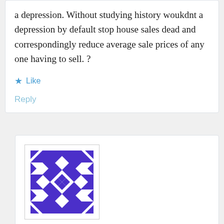a depression. Without studying history woukdnt a depression by default stop house sales dead and correspondingly reduce average sale prices of any one having to sell. ?
Like
Reply
[Figure (illustration): Purple geometric avatar/identicon for user markscreaminggoosearmstrong]
markscreaminggoosearmstrong
May 19, 2020 at 9:00 am